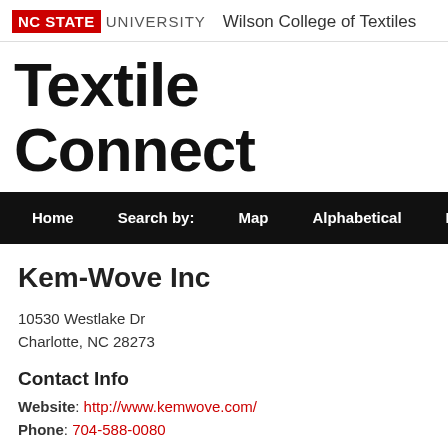[Figure (logo): NC State University logo with red background for 'NC STATE' and gray 'UNIVERSITY', followed by 'Wilson College of Textiles' text]
Textile Connect
Home   Search by:   Map   Alphabetical   Industry Cate...
Kem-Wove Inc
10530 Westlake Dr
Charlotte, NC  28273
Contact Info
Website: http://www.kemwove.com/
Phone: 704-588-0080